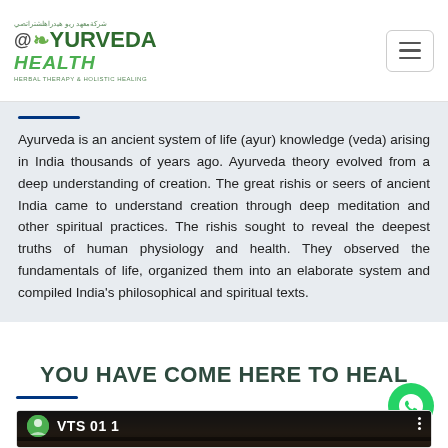[Figure (logo): Ayurveda Health logo with Arabic text, leaf icon, and tagline 'Herbal Therapy & Holistic Healing']
Ayurveda is an ancient system of life (ayur) knowledge (veda) arising in India thousands of years ago. Ayurveda theory evolved from a deep understanding of creation. The great rishis or seers of ancient India came to understand creation through deep meditation and other spiritual practices. The rishis sought to reveal the deepest truths of human physiology and health. They observed the fundamentals of life, organized them into an elaborate system and compiled India's philosophical and spiritual texts.
YOU HAVE COME HERE TO HEAL
[Figure (screenshot): Video thumbnail showing 'VTS 01 1' with Ayurveda logo avatar and a massage/healing scene in the background]